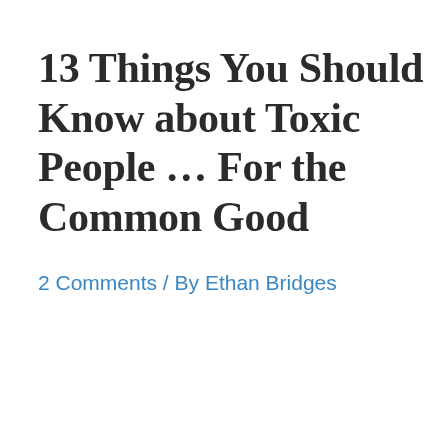13 Things You Should Know about Toxic People … For the Common Good
2 Comments / By Ethan Bridges